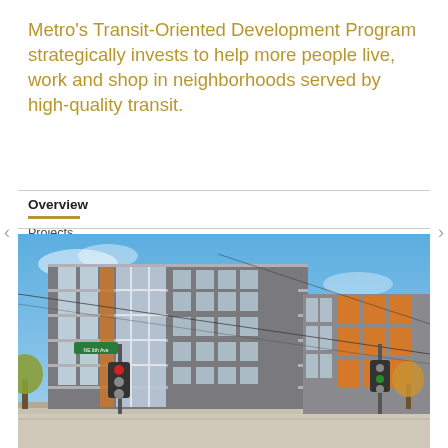Metro's Transit-Oriented Development Program strategically invests to help more people live, work and shop in neighborhoods served by high-quality transit.
Overview
Projects by year
[Figure (photo): Exterior photo of a modern multi-story apartment building with gray and orange facade panels, large windows, photographed from street level at an intersection with a traffic light and street sign visible. Blue sky in background.]